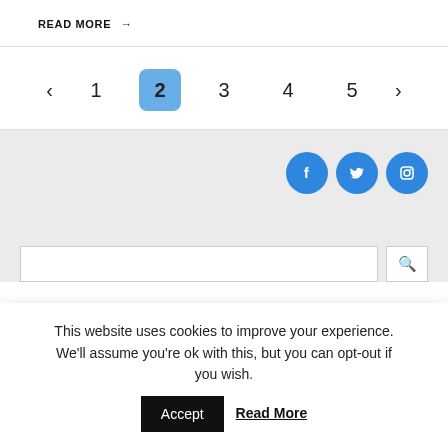READ MORE →
[Figure (infographic): Pagination navigation showing pages 1 through 5 with page 2 highlighted in blue, and previous/next arrows]
[Figure (infographic): Social media icons: Facebook, Twitter, Instagram in blue circles]
This website uses cookies to improve your experience. We'll assume you're ok with this, but you can opt-out if you wish. Accept Read More